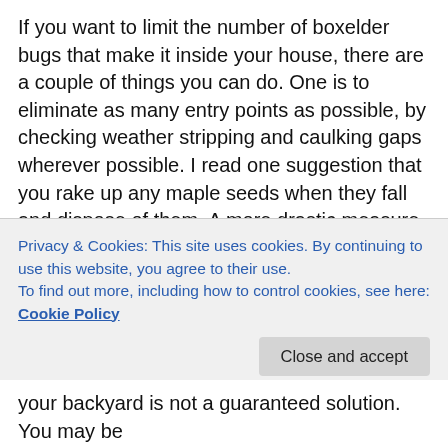If you want to limit the number of boxelder bugs that make it inside your house, there are a couple of things you can do. One is to eliminate as many entry points as possible, by checking weather stripping and caulking gaps wherever possible. I read one suggestion that you rake up any maple seeds when they fall and dispose of them. A more drastic measure would be to remove any maple trees in your yard, especially boxelders. If you have an especially popular boxelder, this may cut down on the number of boxelder bugs that are attracted to your house. Because boxelders have male and female trees and only the females produce the seeds boxelder bugs feed on, if you can figure out which sex your trees
Privacy & Cookies: This site uses cookies. By continuing to use this website, you agree to their use.
To find out more, including how to control cookies, see here: Cookie Policy
Close and accept
your backyard is not a guaranteed solution. You may be